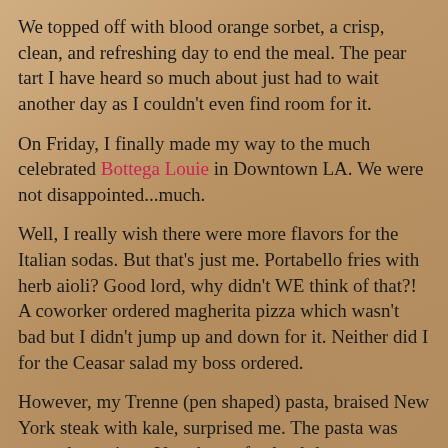We topped off with blood orange sorbet, a crisp, clean, and refreshing day to end the meal. The pear tart I have heard so much about just had to wait another day as I couldn't even find room for it.
On Friday, I finally made my way to the much celebrated Bottega Louie in Downtown LA. We were not disappointed...much.
Well, I really wish there were more flavors for the Italian sodas. But that's just me. Portabello fries with herb aioli? Good lord, why didn't WE think of that?! A coworker ordered magherita pizza which wasn't bad but I didn't jump up and down for it. Neither did I for the Ceasar salad my boss ordered.
However, my Trenne (pen shaped) pasta, braised New York steak with kale, surprised me. The pasta was toasted up crispy. Yes, the perfectly al dente pasta with a crispy edge. It looked like fries at first sight. And boy, the textures were perfect altogether. Out of the ballpark, this dish.